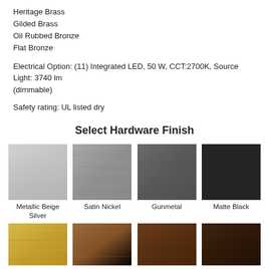Heritage Brass
Gilded Brass
Oil Rubbed Bronze
Flat Bronze
Electrical Option: (11) Integrated LED, 50 W, CCT:2700K, Source Light: 3740 lm (dimmable)
Safety rating: UL listed dry
Select Hardware Finish
[Figure (photo): Four hardware finish swatches: Metallic Beige Silver (light silver), Satin Nickel (medium brushed gray), Gunmetal (dark gray), Matte Black (near black)]
[Figure (photo): Four hardware finish swatches in second row, partially visible: gold/brass tone, warm brown/bronze tone, dark brown tone, darker brown tone]